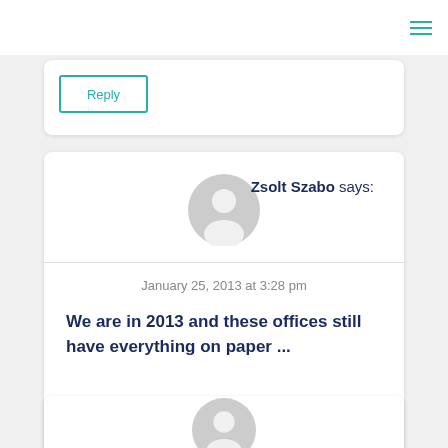Zsolt Szabo says:
January 25, 2013 at 3:28 pm
We are in 2013 and these offices still have everything on paper ...
Reply
Reply